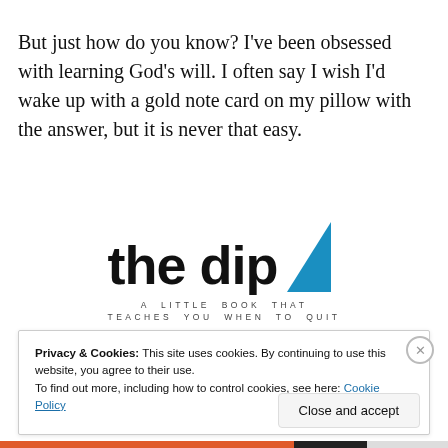But just how do you know? I've been obsessed with learning God's will. I often say I wish I'd wake up with a gold note card on my pillow with the answer, but it is never that easy.
[Figure (illustration): Book cover image for 'the dip: A LITTLE BOOK THAT TEACHES YOU WHEN TO QUIT' with a blue triangle graphic element]
Privacy & Cookies: This site uses cookies. By continuing to use this website, you agree to their use.
To find out more, including how to control cookies, see here: Cookie Policy
Close and accept